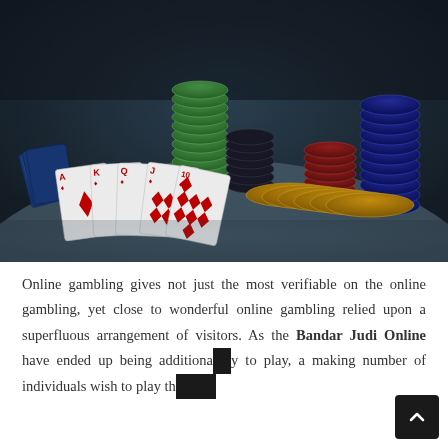[Figure (photo): Casino table with playing cards (fan of cards showing diamonds pattern, ace of diamonds visible) and stacks of poker chips in green, dark blue/navy, red/dark, and gold/yellow colors on a dark surface]
Online gambling gives not just the most verifiable on the online gambling, yet close to wonderful online gambling relied upon a superfluous arrangement of visitors. As the Bandar Judi Online have ended up being additionally to play, a making number of individuals wish to play th...